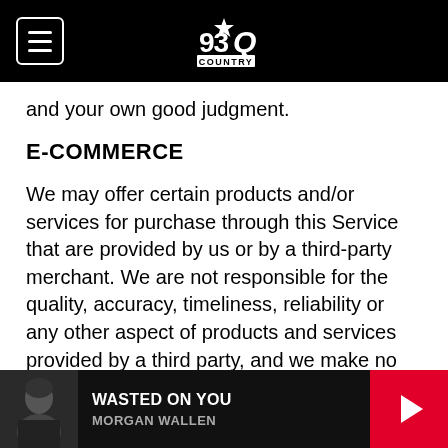93Q Country — navigation bar with logo
and your own good judgment.
E-COMMERCE
We may offer certain products and/or services for purchase through this Service that are provided by us or by a third-party merchant. We are not responsible for the quality, accuracy, timeliness, reliability or any other aspect of products and services provided by a third party, and we make no warranties regarding any such products or services. If you make a purchase from a merchant on our Service, or on a third-party website, application, or mobile application that you have accessed
[Figure (screenshot): Media player bar at the bottom showing a thumbnail photo of Morgan Wallen, song title WASTED ON YOU, artist name MORGAN WALLEN, and a red play button on the right.]